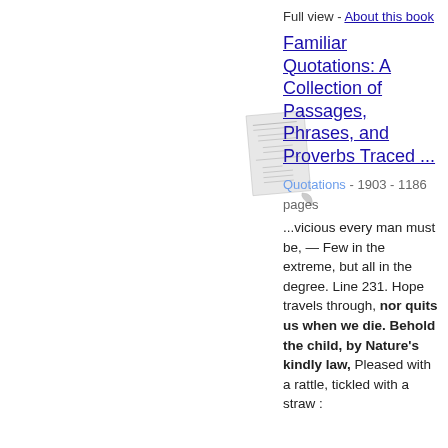Full view - About this book
[Figure (illustration): Thumbnail image of the book cover for 'Familiar Quotations']
Familiar Quotations: A Collection of Passages, Phrases, and Proverbs Traced ...
Quotations - 1903 - 1186 pages
...vicious every man must be, — Few in the extreme, but all in the degree. Line 231. Hope travels through, nor quits us when we die. Behold the child, by Nature's kindly law, Pleased with a rattle, tickled with a straw :